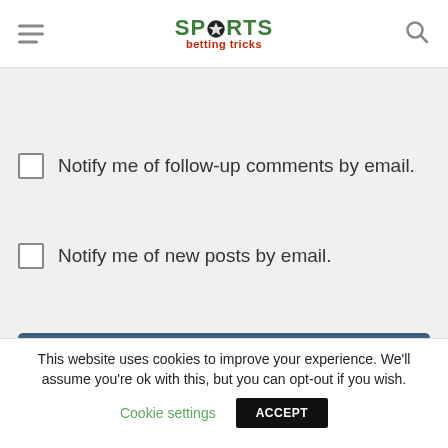SPORTS betting tricks
Notify me of follow-up comments by email.
Notify me of new posts by email.
Post Comment
This website uses cookies to improve your experience. We'll assume you're ok with this, but you can opt-out if you wish.
Cookie settings
ACCEPT